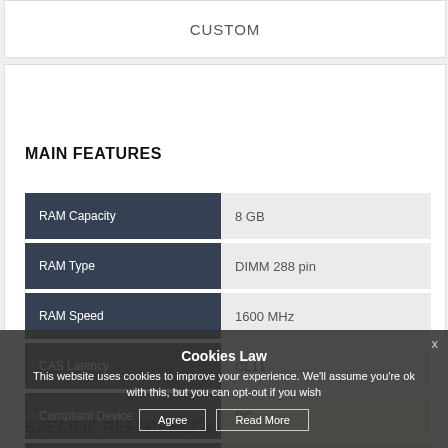CUSTOM
MAIN FEATURES
| Feature | Value |
| --- | --- |
| RAM Capacity | 8 GB |
| RAM Type | DIMM 288 pin |
| RAM Speed | 1600 MHz |
| CAS Latency | CL11 |
| Compliant Device | PC |
SPECIFIC REFERENCES
Cookies Law
This website uses cookies to improve your experience. We'll assume you're ok with this, but you can opt-out if you wish
Agree | Read More